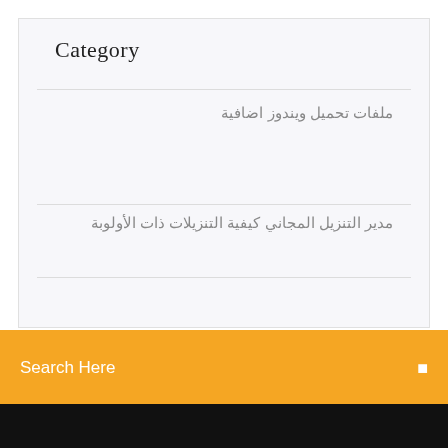Category
ملفات تحميل ويندوز اضافية
مدير التنزيل المجاني كيفية التنزيلات ذات الأولوبة
Search Here